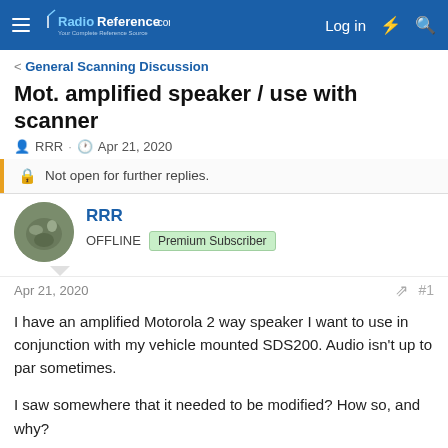RadioReference.com — Log in
< General Scanning Discussion
Mot. amplified speaker / use with scanner
RRR · Apr 21, 2020
Not open for further replies.
RRR
OFFLINE  Premium Subscriber
Apr 21, 2020  #1
I have an amplified Motorola 2 way speaker I want to use in conjunction with my vehicle mounted SDS200. Audio isn't up to par sometimes.

I saw somewhere that it needed to be modified? How so, and why?